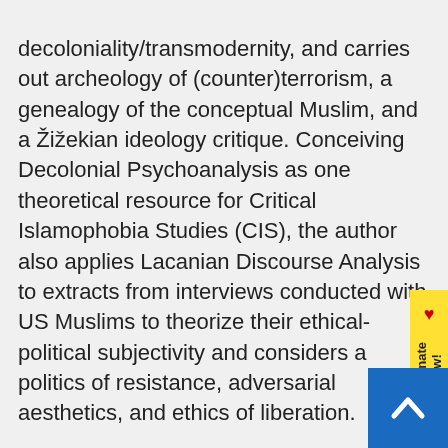decoloniality/transmodernity, and carries out archeology of (counter)terrorism, a genealogy of the conceptual Muslim, and a Žižekian ideology critique. Conceiving Decolonial Psychoanalysis as one theoretical resource for Critical Islamophobia Studies (CIS), the author also applies Lacanian Discourse Analysis to extracts from interviews conducted with US Muslims to theorize their ethical-political subjectivity and considers a politics of resistance, adversarial aesthetics, and ethics of liberation.
Essential to any attempt to come to terms with the legacy of racism in psychology, and the critical psychological study on Islamophobia in the United States, this is a fascinating read for anyone interested in a critical approach to